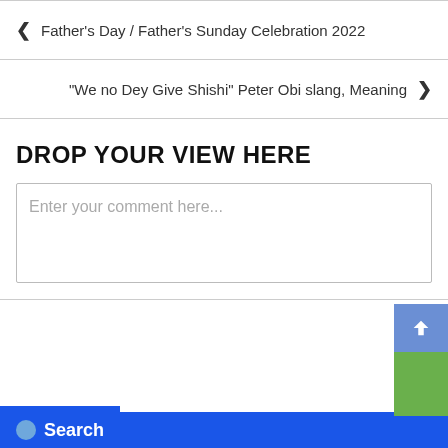Father's Day / Father's Sunday Celebration 2022
“We no Dey Give Shishi” Peter Obi slang, Meaning
DROP YOUR VIEW HERE
Enter your comment here...
Search